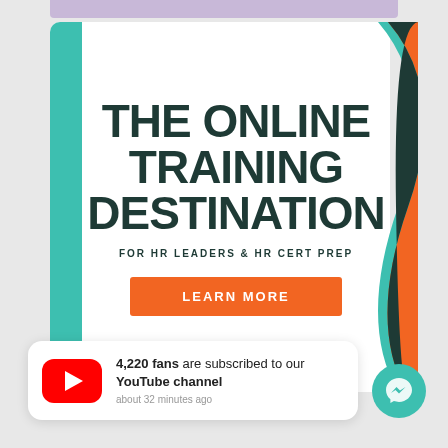THE ONLINE TRAINING DESTINATION
FOR HR LEADERS & HR CERT PREP
LEARN MORE
4,220 fans are subscribed to our YouTube channel
about 32 minutes ago